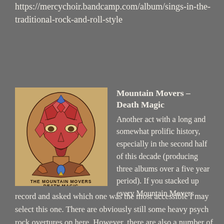https://mercychoir.bandcamp.com/album/sings-in-the-traditional-rock-and-roll-style
[Figure (illustration): Album cover for 'Death Magic' by The Mountain Movers. Features a colorful mosaic-style illustration of a face/head with geometric patterns in reds, blues, and yellows on an orange-tan background. Text at bottom reads 'THE MOUNTAIN MOVERS DEATH MAGIC'.]
Mountain Movers – Death Magic
Another act with a long and somewhat prolific history, especially in the second half of this decade (producing three albums over a five year period). If you stacked up every Mountain Movers record and asked which one was the most accessible I may select this one. There are obviously still some heavy psych rock overtures on here. However, there are also a number of tracks that seem to travel a distinct, traditional path, often times mixing